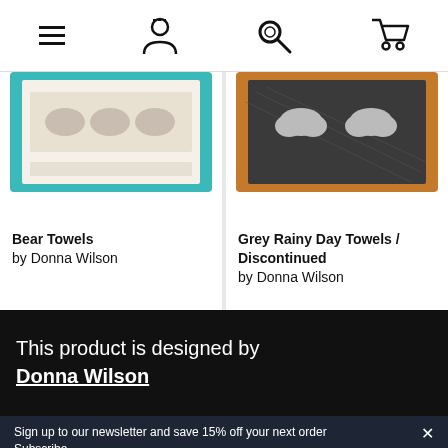Navigation bar with menu, account, search, and cart icons
[Figure (photo): Bear Towels product thumbnail — teal-bordered towel with bear motif, partially cropped at top]
Bear Towels
by Donna Wilson
[Figure (photo): Grey Rainy Day Towels product thumbnail — dark towel with cloud motif and brown border, partially cropped at top]
Grey Rainy Day Towels / Discontinued
by Donna Wilson
This product is designed by Donna Wilson
Sign up to our newsletter and save 15% off your next order
Subscribe